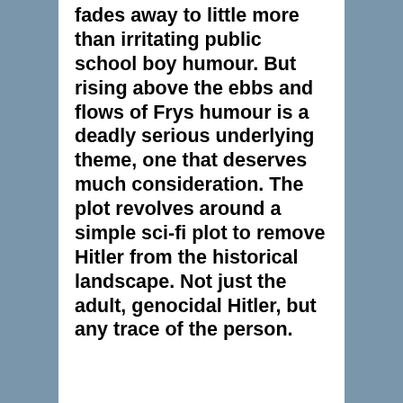fades away to little more than irritating public school boy humour. But rising above the ebbs and flows of Frys humour is a deadly serious underlying theme, one that deserves much consideration. The plot revolves around a simple sci-fi plot to remove Hitler from the historical landscape. Not just the adult, genocidal Hitler, but any trace of the person.